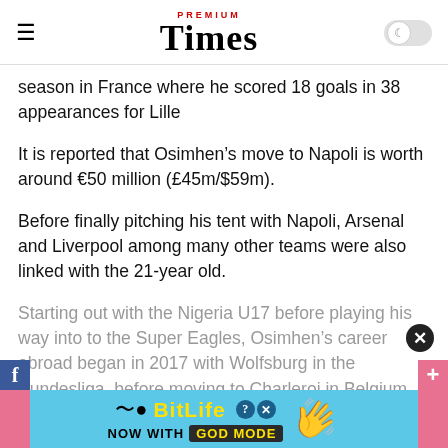PREMIUM Times
season in France where he scored 18 goals in 38 appearances for Lille
It is reported that Osimhen’s move to Napoli is worth around €50 million (£45m/$59m).
Before finally pitching his tent with Napoli, Arsenal and Liverpool among many other teams were also linked with the 21-year old.
Starting out with the Nigeria U17 before playing his way into to the Super Eagles, Osimhen’s career abroad began in 2017 with Wolfsburg in the Bundesliga, before moving to Charleroi in Belgium, initially on loan and then in a permanent transfer.
[Figure (infographic): BitLife advertisement banner: NOW WITH GOD MODE, with snake icon and pointing hand graphic on cyan/blue background with pink side bars]